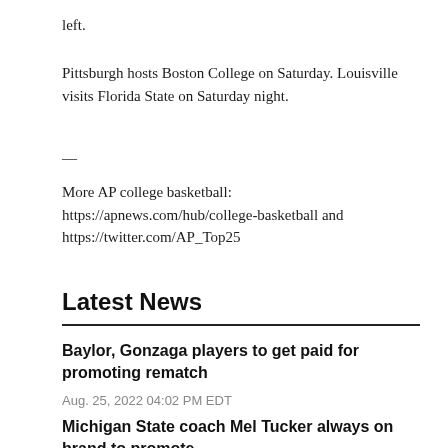left.
Pittsburgh hosts Boston College on Saturday. Louisville visits Florida State on Saturday night.
—
More AP college basketball: https://apnews.com/hub/college-basketball and https://twitter.com/AP_Top25
Latest News
Baylor, Gonzaga players to get paid for promoting rematch
Aug. 25, 2022 04:02 PM EDT
Michigan State coach Mel Tucker always on brand to promote